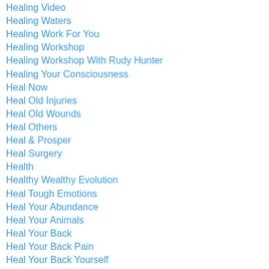Healing Video
Healing Waters
Healing Work For You
Healing Workshop
Healing Workshop With Rudy Hunter
Healing Your Consciousness
Heal Now
Heal Old Injuries
Heal Old Wounds
Heal Others
Heal & Prosper
Heal Surgery
Health
Healthy Wealthy Evolution
Heal Tough Emotions
Heal Your Abundance
Heal Your Animals
Heal Your Back
Heal Your Back Pain
Heal Your Back Yourself
Heal Your Brain